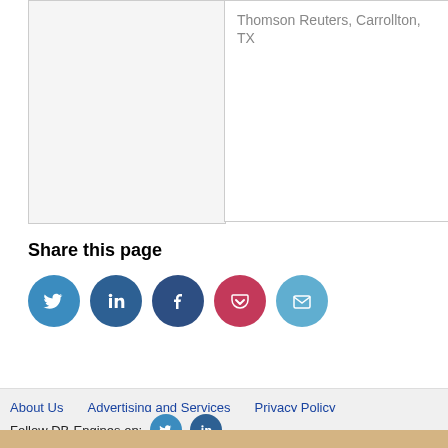|  | Thomson Reuters, Carrollton, TX |
| --- | --- |
Share this page
[Figure (infographic): Row of five social sharing icon circles: Twitter (blue), LinkedIn (dark blue), Facebook (dark blue), Pocket (red/pink), Email (light blue)]
About Us   Advertising and Services   Privacy Policy
Follow DB-Engines on: [Twitter icon] [LinkedIn icon]